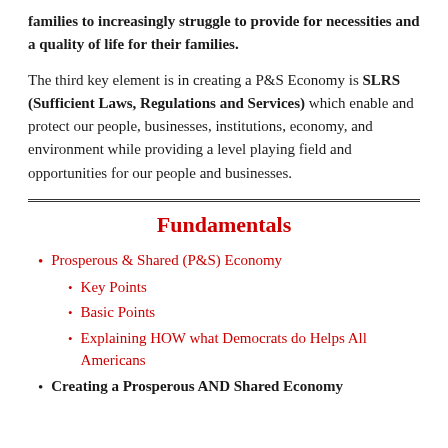families to increasingly struggle to provide for necessities and a quality of life for their families.
The third key element is in creating a P&S Economy is SLRS (Sufficient Laws, Regulations and Services) which enable and protect our people, businesses, institutions, economy, and environment while providing a level playing field and opportunities for our people and businesses.
Fundamentals
Prosperous & Shared (P&S) Economy
Key Points
Basic Points
Explaining HOW what Democrats do Helps All Americans
Creating a Prosperous AND Shared Economy